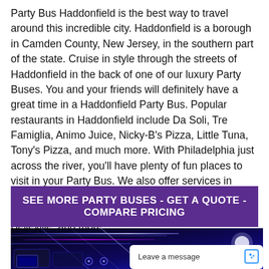Party Bus Haddonfield is the best way to travel around this incredible city. Haddonfield is a borough in Camden County, New Jersey, in the southern part of the state. Cruise in style through the streets of Haddonfield in the back of one of our luxury Party Buses. You and your friends will definitely have a great time in a Haddonfield Party Bus. Popular restaurants in Haddonfield include Da Soli, Tre Famiglia, Animo Juice, Nicky-B's Pizza, Little Tuna, Tony's Pizza, and much more. With Philadelphia just across the river, you'll have plenty of fun places to visit in your Party Bus. We also offer services in surrounding cities like Towota, Hoboken, Newark, East Orange, Irvington, Harrison, Hillside, Orange, Belleville, and more.
[Figure (infographic): Purple banner with white bold text: SEE MORE PARTY BUSES - GET A QUOTE - COMPARE PRICING]
[Figure (photo): Interior of a party bus with blue/purple neon lighting, dark ambiance. A white chat widget overlay in the bottom right reads 'Leave a message' with a chat icon.]